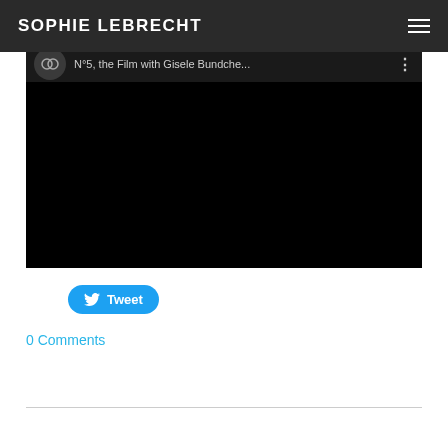SOPHIE LEBRECHT
[Figure (screenshot): Embedded YouTube video player showing a Chanel video titled 'N°5, the Film with Gisele Bundche...' with a black background and Chanel logo in the top bar]
Tweet
0 Comments